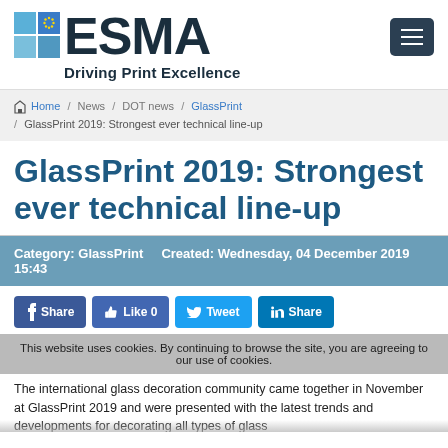[Figure (logo): ESMA logo with colored squares and text 'Driving Print Excellence']
Home / News / DOT news / GlassPrint / GlassPrint 2019: Strongest ever technical line-up
GlassPrint 2019: Strongest ever technical line-up
Category: GlassPrint    Created: Wednesday, 04 December 2019 15:43
Share  Like 0  Tweet  Share
This website uses cookies. By continuing to browse the site, you are agreeing to our use of cookies.
The international glass decoration community came together in November at GlassPrint 2019 and were presented with the latest trends and developments for decorating all types of glass...